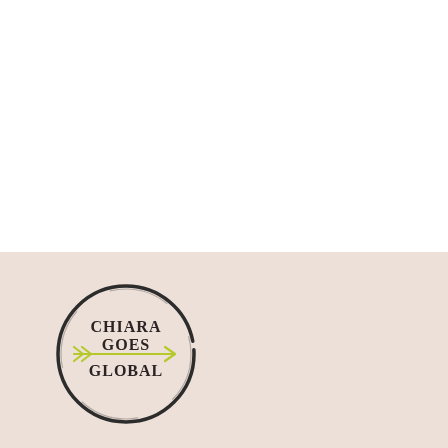[Figure (logo): Chiara Goes Global logo: a hand-drawn circle with text 'CHIARA GOES GLOBAL' and a yellow-green arrow pointing right with chevrons on the left]